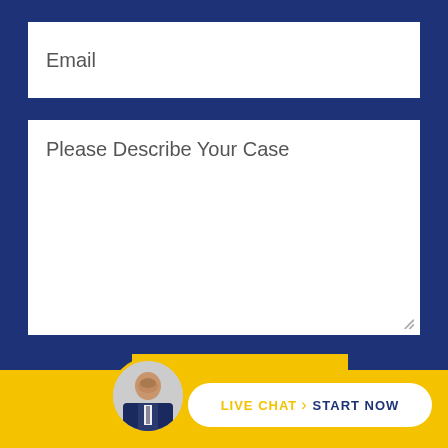Email
Please Describe Your Case
Submit
LIVE CHAT  START NOW